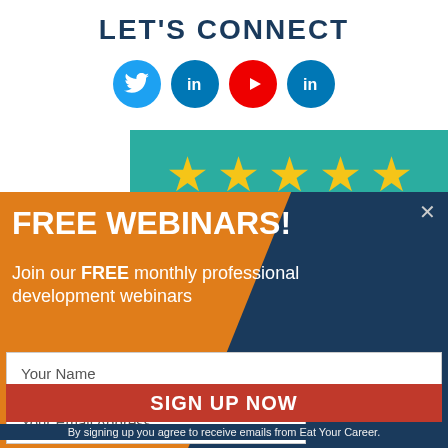LET'S CONNECT
[Figure (infographic): Four circular social media icons: Twitter (blue), LinkedIn (blue), YouTube (red), LinkedIn (blue)]
[Figure (infographic): Five gold stars on a teal/green background banner]
FREE WEBINARS!
Join our FREE monthly professional development webinars
Your Name
Your Email Address
SIGN UP NOW
By signing up you agree to receive emails from Eat Your Career.